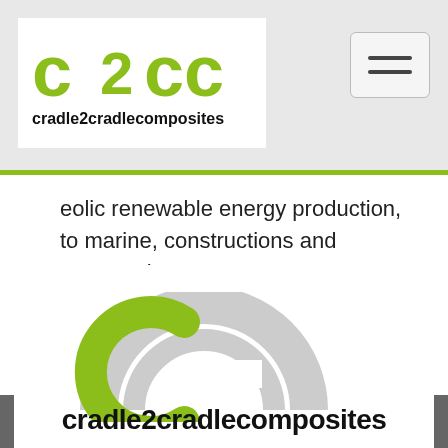[Figure (logo): cradle2cradlecomposites logo with green c2cc lettering on white background in header]
eolic renewable energy production, to marine, constructions and aeronautics.
[Figure (logo): Large cradle2cradlecomposites logo with green and grey circular C mark and bold black wordmark on white background in bottom section]